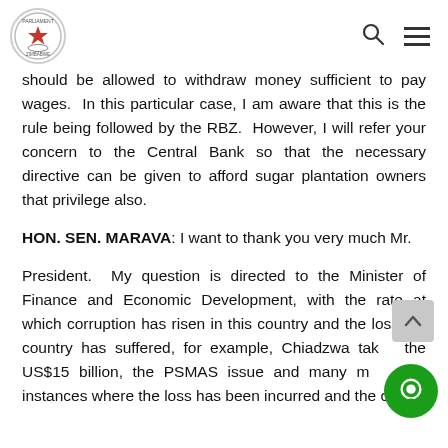Parliament of Zimbabwe header with logo, search and menu icons
should be allowed to withdraw money sufficient to pay wages. In this particular case, I am aware that this is the rule being followed by the RBZ. However, I will refer your concern to the Central Bank so that the necessary directive can be given to afford sugar plantation owners that privilege also.
HON. SEN. MARAVA: I want to thank you very much Mr.
President. My question is directed to the Minister of Finance and Economic Development, with the rate at which corruption has risen in this country and the loss the country has suffered, for example, Chiadzwa taking the US$15 billion, the PSMAS issue and many more instances where the loss has been incurred and the culprit